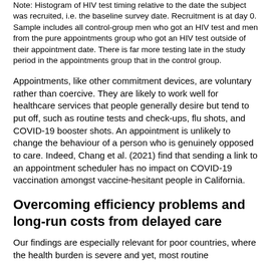Note: Histogram of HIV test timing relative to the date the subject was recruited, i.e. the baseline survey date. Recruitment is at day 0. Sample includes all control-group men who got an HIV test and men from the pure appointments group who got an HIV test outside of their appointment date. There is far more testing late in the study period in the appointments group that in the control group.
Appointments, like other commitment devices, are voluntary rather than coercive. They are likely to work well for healthcare services that people generally desire but tend to put off, such as routine tests and check-ups, flu shots, and COVID-19 booster shots. An appointment is unlikely to change the behaviour of a person who is genuinely opposed to care. Indeed, Chang et al. (2021) find that sending a link to an appointment scheduler has no impact on COVID-19 vaccination amongst vaccine-hesitant people in California.
Overcoming efficiency problems and long-run costs from delayed care
Our findings are especially relevant for poor countries, where the health burden is severe and yet, most routine